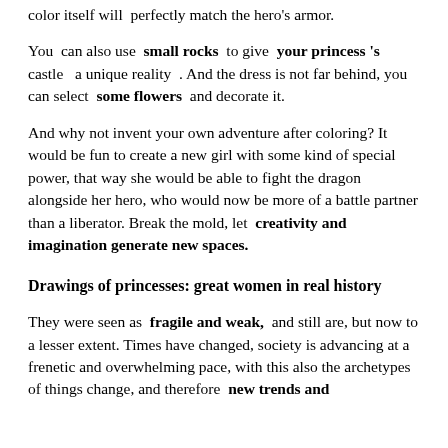color itself will perfectly match the hero's armor.
You can also use small rocks to give your princess 's castle a unique reality . And the dress is not far behind, you can select some flowers and decorate it.
And why not invent your own adventure after coloring? It would be fun to create a new girl with some kind of special power, that way she would be able to fight the dragon alongside her hero, who would now be more of a battle partner than a liberator. Break the mold, let creativity and imagination generate new spaces.
Drawings of princesses: great women in real history
They were seen as fragile and weak, and still are, but now to a lesser extent. Times have changed, society is advancing at a frenetic and overwhelming pace, with this also the archetypes of things change, and therefore new trends and